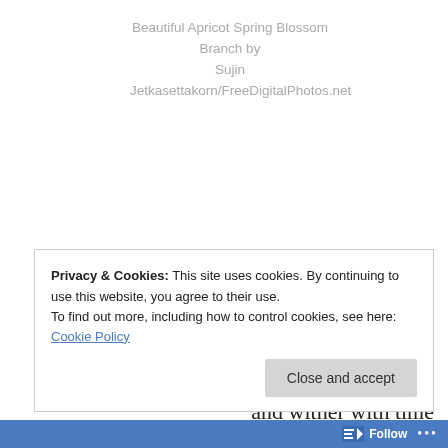Beautiful Apricot Spring Blossom Branch by Sujin Jetkasettakorn/FreeDigitalPhotos.net
We all bloom with youth

and wither with time

So bloom with abandon
Privacy & Cookies: This site uses cookies. By continuing to use this website, you agree to their use.
To find out more, including how to control cookies, see here: Cookie Policy
Close and accept
Follow ...